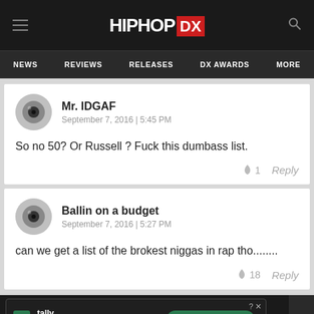HIPHOP DX — NEWS  REVIEWS  RELEASES  DX AWARDS  MORE
Mr. IDGAF
September 7, 2016 | 5:45 PM

So no 50? Or Russell ? Fuck this dumbass list.
🔥 1   Reply
Ballin on a budget
September 7, 2016 | 5:27 PM

can we get a list of the brokest niggas in rap tho........
🔥 18   Reply
[Figure (screenshot): Tally advertisement banner: Fast credit card payoff with Download Now button]